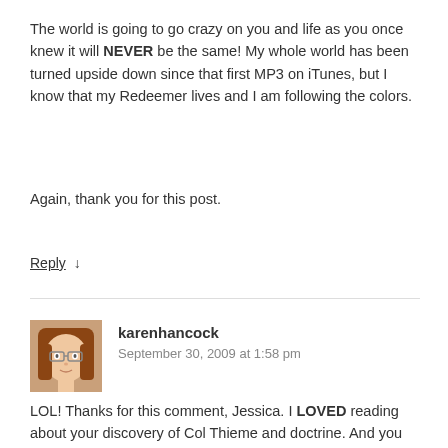The world is going to go crazy on you and life as you once knew it will NEVER be the same! My whole world has been turned upside down since that first MP3 on iTunes, but I know that my Redeemer lives and I am following the colors.
Again, thank you for this post.
Reply ↓
karenhancock
September 30, 2009 at 1:58 pm
LOL! Thanks for this comment, Jessica. I LOVED reading about your discovery of Col Thieme and doctrine. And you are SOOO right about your world going crazy when you first start getting it. And when you study certain subjects. Or try to